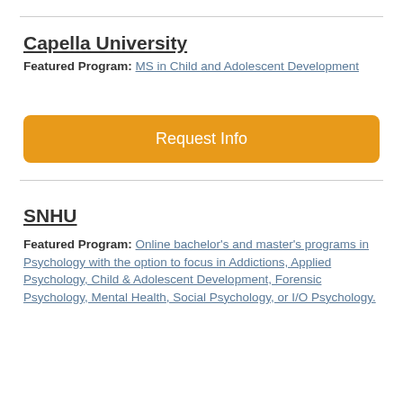Capella University
Featured Program: MS in Child and Adolescent Development
[Figure (other): Orange 'Request Info' button]
SNHU
Featured Program: Online bachelor's and master's programs in Psychology with the option to focus in Addictions, Applied Psychology, Child & Adolescent Development, Forensic Psychology, Mental Health, Social Psychology, or I/O Psychology.